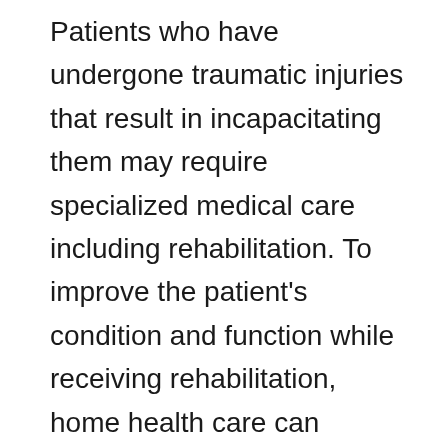Patients who have undergone traumatic injuries that result in incapacitating them may require specialized medical care including rehabilitation. To improve the patient's condition and function while receiving rehabilitation, home health care can include nutrition therapy. Nutritional therapy is intended to promote the patient's overall well-being through nutrition therapy that concentrates on diet, fasting, and dietary supplements. These specialized services are usually offered through a doctor's referral. Examples of conditions that would benefit from nutrition therapy include gastric bypass